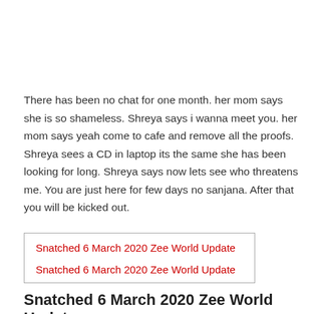There has been no chat for one month. her mom says she is so shameless. Shreya says i wanna meet you. her mom says yeah come to cafe and remove all the proofs. Shreya sees a CD in laptop its the same she has been looking for long. Shreya says now lets see who threatens me. You are just here for few days no sanjana. After that you will be kicked out.
Snatched 6 March 2020 Zee World Update
Snatched 6 March 2020 Zee World Update
Snatched 6 March 2020 Zee World Update